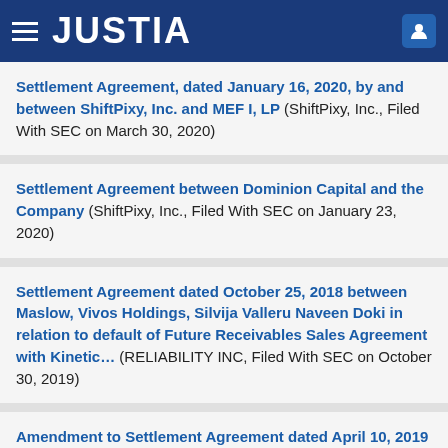JUSTIA
Settlement Agreement, dated January 16, 2020, by and between ShiftPixy, Inc. and MEF I, LP (ShiftPixy, Inc., Filed With SEC on March 30, 2020)
Settlement Agreement between Dominion Capital and the Company (ShiftPixy, Inc., Filed With SEC on January 23, 2020)
Settlement Agreement dated October 25, 2018 between Maslow, Vivos Holdings, Silvija Valleru Naveen Doki in relation to default of Future Receivables Sales Agreement with Kinetic... (RELIABILITY INC, Filed With SEC on October 30, 2019)
Amendment to Settlement Agreement dated April 10, 2019 between Maslow, Vivos Holdings, Silvija Valleru Naveen Doki in relation to default of Future Receivables Sales Agreement... (RELIABILITY INC, Filed With SEC on